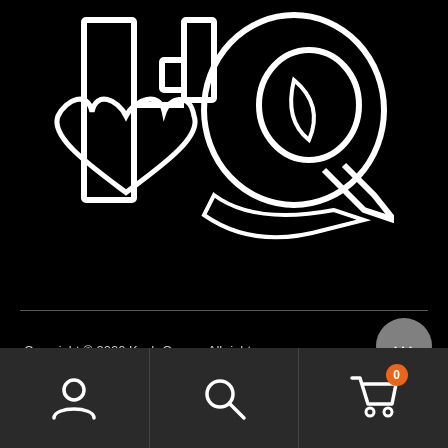[Figure (logo): Kush Queen logo on black background — large stylized letters HQ with a heart outline and circular Q design, rendered in white outline strokes]
Copyright © 2020 Kush Queen. All rights reserved.
[Figure (screenshot): Mobile app bottom navigation bar with account (person icon), search (magnifying glass icon), and cart (shopping cart icon with orange badge showing 0) buttons on dark grey background]